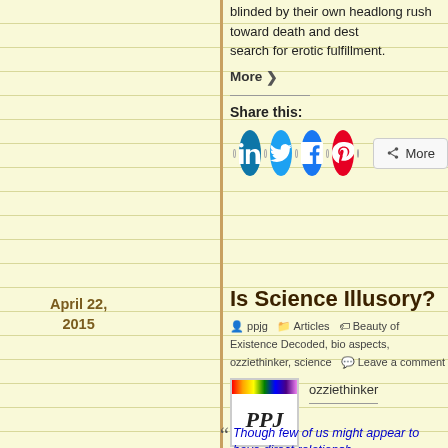blinded by their own headlong rush toward death and destruction in their search for erotic fulfillment.
More >
Share this:
[Figure (infographic): Social share buttons: LinkedIn (blue circle), Twitter (light blue circle), Facebook (blue circle), Pinterest (red circle), and a More button]
April 22, 2015
Is Science Illusory?
ppjg  Articles  Beauty of Existence Decoded, bio aspects, ozziethinker, science  Leave a comment
[Figure (logo): PPJ logo with rainbow strip at top]
ozziethinker
Though few of us might appear to have direct relationships